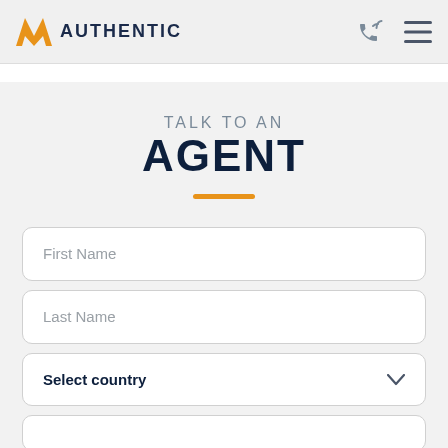AUTHENTIC
TALK TO AN AGENT
First Name
Last Name
Select country